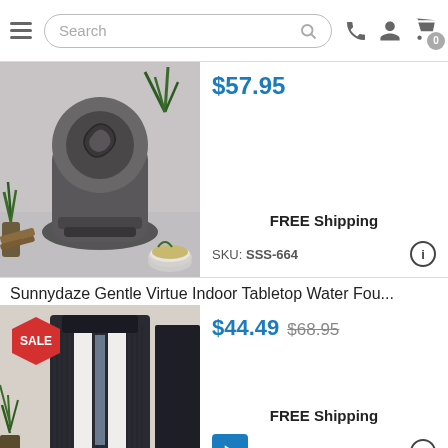Search bar with hamburger menu, search input, phone icon, account icon, cart icon (0 items)
$57.95
[Figure (photo): Stone/rock-style indoor tabletop water fountain, dark gray carved-rock appearance with swirling water channels, displayed on a gray surface with green plants in background]
FREE Shipping
SKU: SSS-664
Sunnydaze Gentle Virtue Indoor Tabletop Water Fou...
$44.49 $68.95
[Figure (photo): Modern indoor tabletop water fountain, dark charcoal/black rectangular design with two white vertical columns and cascading water, SALE badge in top left corner]
FREE Shipping